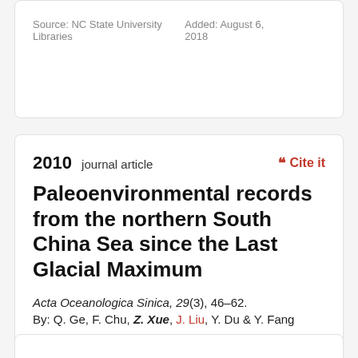Source: NC State University Libraries
Added: August 6, 2018
2010 journal article
Cite it
Paleoenvironmental records from the northern South China Sea since the Last Glacial Maximum
Acta Oceanologica Sinica, 29(3), 46–62.
By: Q. Ge, F. Chu, Z. Xue, J. Liu, Y. Du & Y. Fang
Source: NC State University Libraries
Added: August 6, 2018